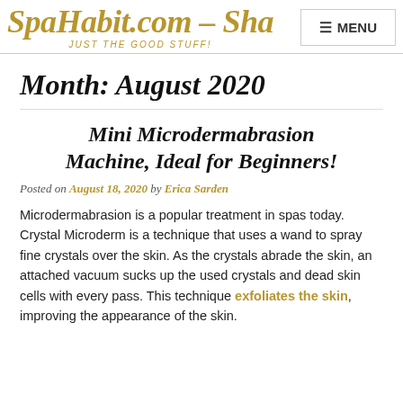SpaHabit.com — Sha… JUST THE GOOD STUFF! MENU
Month: August 2020
Mini Microdermabrasion Machine, Ideal for Beginners!
Posted on August 18, 2020 by Erica Sarden
Microdermabrasion is a popular treatment in spas today. Crystal Microderm is a technique that uses a wand to spray fine crystals over the skin. As the crystals abrade the skin, an attached vacuum sucks up the used crystals and dead skin cells with every pass. This technique exfoliates the skin, improving the appearance of the skin.